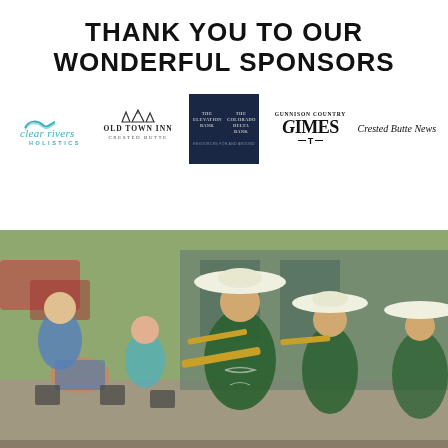THANK YOU TO OUR WONDERFUL SPONSORS
[Figure (logo): Clear Rivers Holistics logo with teal wave graphic and text]
[Figure (logo): Old Town Inn Crested Butte logo with mountain graphic]
[Figure (logo): The Elevation Bank / Colorado Delta Bank logo on dark navy background]
[Figure (logo): Gunnison Country Times logo]
[Figure (logo): Crested Butte News logo]
[Figure (photo): Mariachi band members in green charro suits and white sombreros playing trombone and trumpet outdoors at a restaurant patio, with seated patrons in background]